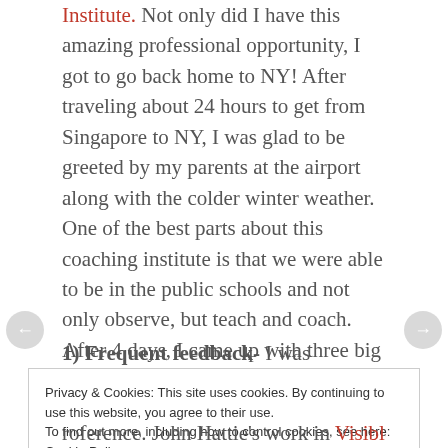Institute. Not only did I have this amazing professional opportunity, I got to go back home to NY! After traveling about 24 hours to get from Singapore to NY, I was glad to be greeted by my parents at the airport along with the colder winter weather. One of the best parts about this coaching institute is that we were able to be in the public schools and not only observe, but teach and coach. After 4 days, I came up with three big ideas that I took from the institute.
1) Frequent feedback- I was reminded over and
Privacy & Cookies: This site uses cookies. By continuing to use this website, you agree to their use. To find out more, including how to control cookies, see here: Cookie Policy
Close and accept
roference. John Hattie's work in Visible Teaching for